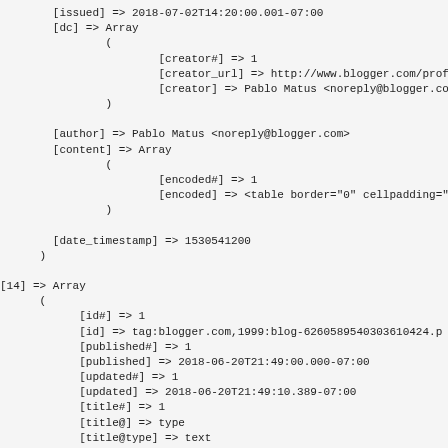[issued] => 2018-07-02T14:20:00.001-07:00
[dc] => Array
    (
        [creator#] => 1
        [creator_url] => http://www.blogger.com/profile
        [creator] => Pablo Matus <noreply@blogger.com>
    )

[author] => Pablo Matus <noreply@blogger.com>
[content] => Array
    (
        [encoded#] => 1
        [encoded] => <table border="0" cellpadding="0"
    )

[date_timestamp] => 1530541200
)

[14] => Array
(
    [id#] => 1
    [id] => tag:blogger.com,1999:blog-6260589540303610424.p
    [published#] => 1
    [published] => 2018-06-20T21:49:00.000-07:00
    [updated#] => 1
    [updated] => 2018-06-20T21:49:10.389-07:00
    [title#] => 1
    [title@] => type
    [title@type] => text
    [title] => Liste des inscrits au 20 Juin 2018
    [atom_content#] => 1
    [atom_content@] => type
    [atom_content@type] => html
    [atom_content] => <table border="0" cellpadding="0" ce
    [link_edit#] => 1
    [link_edit] => http://www.blogger.com/feeds/6260589543
    [link_edit@] => rel,type,href
    [link_edit@rel] => edit
    [link_edit@type] => application/atom+xml
    [link_edit@href] => http://www.blogger.com/feeds/626058
    [link_self#] => 1
    [link_self] => http://www.blogger.com/feeds/62605895480